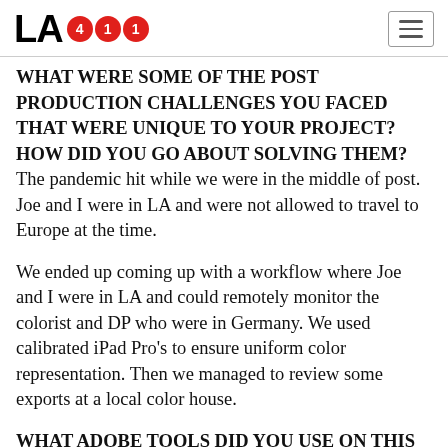LA411
WHAT WERE SOME OF THE POST PRODUCTION CHALLENGES YOU FACED THAT WERE UNIQUE TO YOUR PROJECT? HOW DID YOU GO ABOUT SOLVING THEM? The pandemic hit while we were in the middle of post. Joe and I were in LA and were not allowed to travel to Europe at the time.
We ended up coming up with a workflow where Joe and I were in LA and could remotely monitor the colorist and DP who were in Germany. We used calibrated iPad Pro's to ensure uniform color representation. Then we managed to review some exports at a local color house.
WHAT ADOBE TOOLS DID YOU USE ON THIS PROJECT AND WHY DID YOU ORIGINALLY CHOOSE THEM? WHY WERE THEY THE BEST CHOICE FOR THIS PROJECT? I relied heavily on Premiere Pro, After Effects and Photoshop. Productions in Premiere Pro